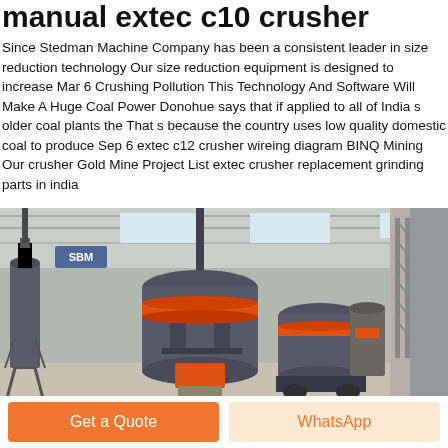manual extec c10 crusher
Since Stedman Machine Company has been a consistent leader in size reduction technology Our size reduction equipment is designed to increase Mar 6 Crushing Pollution This Technology And Software Will Make A Huge Coal Power Donohue says that if applied to all of India s older coal plants the That s because the country uses low quality domestic coal to produce Sep 6 extec c12 crusher wireing diagram BINQ Mining Our crusher Gold Mine Project List extec crusher replacement grinding parts in india
[Figure (photo): Industrial crushing/milling machines in a large factory warehouse. Large cylindrical grey metal grinders with orange accent bands are visible, along with structural steel frames and a high ceiling.]
Get a Quote
WhatsApp